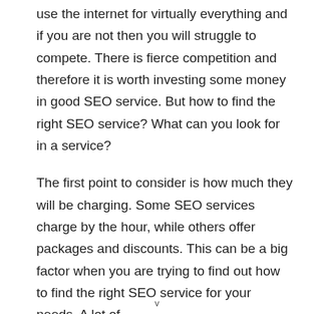use the internet for virtually everything and if you are not then you will struggle to compete. There is fierce competition and therefore it is worth investing some money in good SEO service. But how to find the right SEO service? What can you look for in a service?
The first point to consider is how much they will be charging. Some SEO services charge by the hour, while others offer packages and discounts. This can be a big factor when you are trying to find out how to find the right SEO service for your needs. A lot of
v